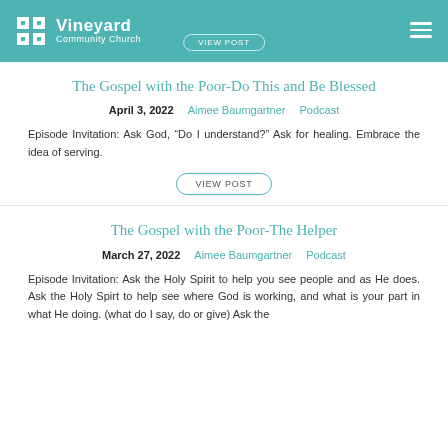Vineyard Community Church
The Gospel with the Poor-Do This and Be Blessed
April 3, 2022   Aimee Baumgartner   Podcast
Episode Invitation: Ask God, “Do I understand?” Ask for healing. Embrace the idea of serving.
VIEW POST
The Gospel with the Poor-The Helper
March 27, 2022   Aimee Baumgartner   Podcast
Episode Invitation: Ask the Holy Spirit to help you see people and as He does. Ask the Holy Spirt to help see where God is working, and what is your part in what He doing. (what do I say, do or give) Ask the